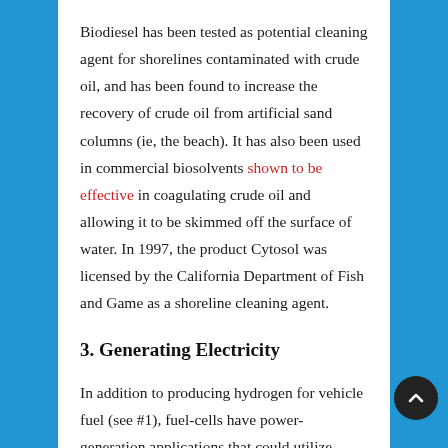Biodiesel has been tested as potential cleaning agent for shorelines contaminated with crude oil, and has been found to increase the recovery of crude oil from artificial sand columns (ie, the beach). It has also been used in commercial biosolvents shown to be effective in coagulating crude oil and allowing it to be skimmed off the surface of water. In 1997, the product Cytosol was licensed by the California Department of Fish and Game as a shoreline cleaning agent.
3. Generating Electricity
In addition to producing hydrogen for vehicle fuel (see #1), fuel-cells have power-generation applications that could utilize biodiesel. The military has already invested $1.8 million in mobile power-generation using this